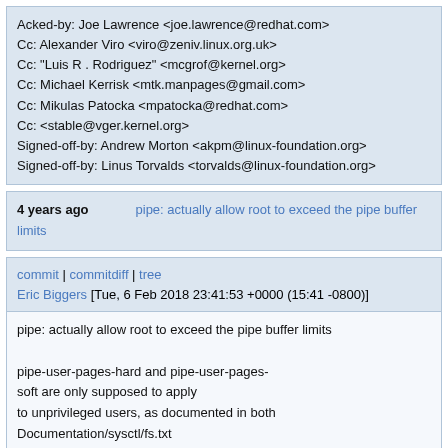Acked-by: Joe Lawrence <joe.lawrence@redhat.com>
Cc: Alexander Viro <viro@zeniv.linux.org.uk>
Cc: "Luis R . Rodriguez" <mcgrof@kernel.org>
Cc: Michael Kerrisk <mtk.manpages@gmail.com>
Cc: Mikulas Patocka <mpatocka@redhat.com>
Cc: <stable@vger.kernel.org>
Signed-off-by: Andrew Morton <akpm@linux-foundation.org>
Signed-off-by: Linus Torvalds <torvalds@linux-foundation.org>
4 years ago   pipe: actually allow root to exceed the pipe buffer limits
commit | commitdiff | tree
Eric Biggers [Tue, 6 Feb 2018 23:41:53 +0000 (15:41 -0800)]
pipe: actually allow root to exceed the pipe buffer limits

pipe-user-pages-hard and pipe-user-pages-soft are only supposed to apply to unprivileged users, as documented in both Documentation/sysctl/fs.txt and the pipe(7) man page.

However, the capabilities are actually only checked when increasing a pipe's size using F_SETPIPE_SZ, not when creating a new pipe.  Therefore